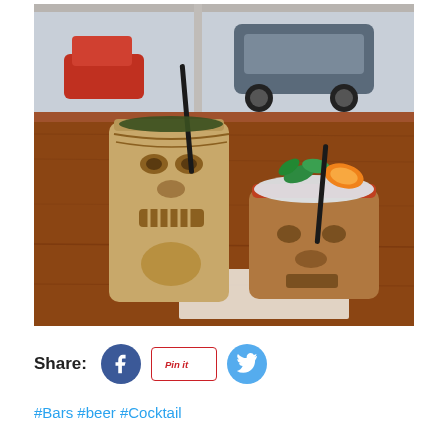[Figure (photo): Two tiki mugs (ceramic cups with carved face designs) containing cocktails on a wooden bar surface. The left mug is taller and cylindrical with a black straw. The right mug is shorter with ice, mint leaves, an orange slice garnish, and a black straw. A window with a reflected street scene is visible in the background.]
Share:
#Bars #beer #Cocktail